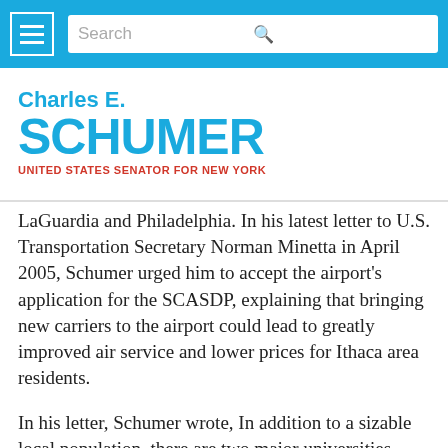Navigation bar with hamburger menu and search bar
Charles E. SCHUMER UNITED STATES SENATOR FOR NEW YORK
LaGuardia and Philadelphia. In his latest letter to U.S. Transportation Secretary Norman Minetta in April 2005, Schumer urged him to accept the airport's application for the SCASDP, explaining that bringing new carriers to the airport could lead to greatly improved air service and lower prices for Ithaca area residents.
In his letter, Schumer wrote, In addition to a sizable local population, there are two major universities, with over 30,000 students combined, within ten miles of the airport. Both Cornell University and Ithaca College are continually ranked among...